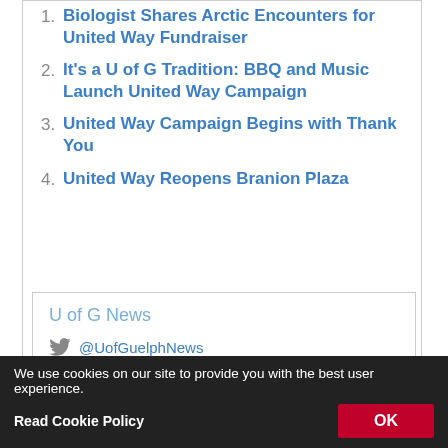1. Biologist Shares Arctic Encounters for United Way Fundraiser
2. It's a U of G Tradition: BBQ and Music Launch United Way Campaign
3. United Way Campaign Begins with Thank You
4. United Way Reopens Branion Plaza
U of G News
@UofGuelphNews
[Figure (other): RSS feed orange icon button]
For media questions, contact:
We use cookies on our site to provide you with the best user experience.
Read Cookie Policy
OK